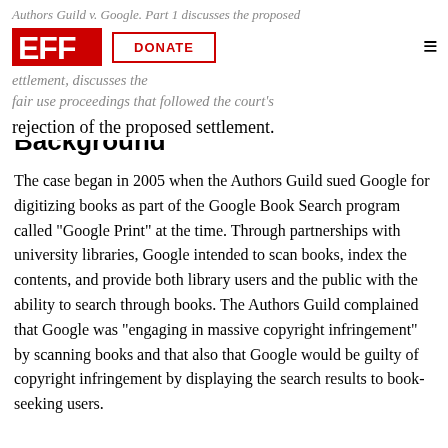Authors Guild v. Google. Part 1 discusses the proposed settlement, Part 2 discusses the fair use proceedings that followed the court's rejection of the proposed settlement.
Background
The case began in 2005 when the Authors Guild sued Google for digitizing books as part of the Google Book Search program called "Google Print" at the time. Through partnerships with university libraries, Google intended to scan books, index the contents, and provide both library users and the public with the ability to search through books. The Authors Guild complained that Google was "engaging in massive copyright infringement" by scanning books and that also that Google would be guilty of copyright infringement by displaying the search results to book-seeking users.